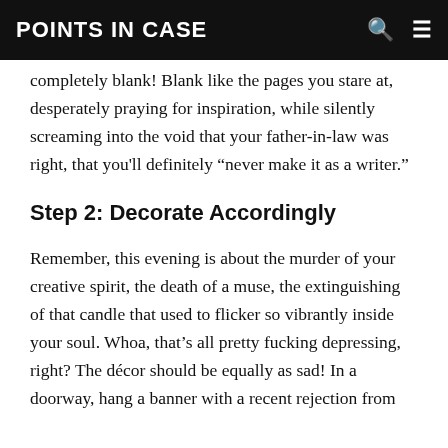POINTS IN CASE
For an even greater effect, the invitation could be completely blank! Blank like the pages you stare at, desperately praying for inspiration, while silently screaming into the void that your father-in-law was right, that you'll definitely “never make it as a writer.”
Step 2: Decorate Accordingly
Remember, this evening is about the murder of your creative spirit, the death of a muse, the extinguishing of that candle that used to flicker so vibrantly inside your soul. Whoa, that’s all pretty fucking depressing, right? The décor should be equally as sad! In a doorway, hang a banner with a recent rejection from